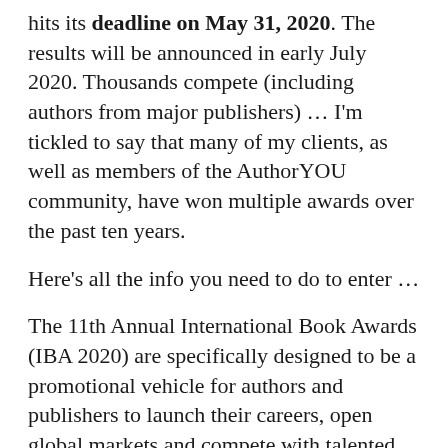hits its deadline on May 31, 2020. The results will be announced in early July 2020. Thousands compete (including authors from major publishers) … I'm tickled to say that many of my clients, as well as members of the AuthorYOU community, have won multiple awards over the past ten years.
Here's all the info you need to do to enter …
The 11th Annual International Book Awards (IBA 2020) are specifically designed to be a promotional vehicle for authors and publishers to launch their careers, open global markets and compete with talented authors and publishers throughout the world.
Enter Your 2018-2020 Titles!